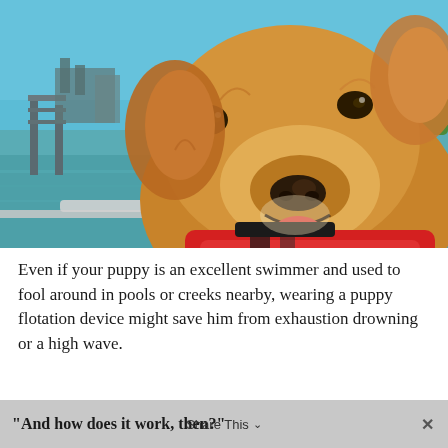[Figure (photo): A golden retriever dog wearing a red life vest/flotation device, photographed close-up on a boat on the water. Blue sky and green trees visible in background, along with a dock or pier structure.]
Even if your puppy is an excellent swimmer and used to fool around in pools or creeks nearby, wearing a puppy flotation device might save him from exhaustion drowning or a high wave.
"And how does it work, then?"   Share This   ×